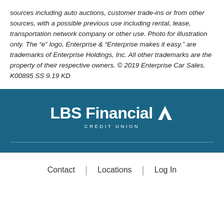sources including auto auctions, customer trade-ins or from other sources, with a possible previous use including rental, lease, transportation network company or other use. Photo for illustration only. The “e” logo, Enterprise & “Enterprise makes it easy.” are trademarks of Enterprise Holdings, Inc. All other trademarks are the property of their respective owners. © 2019 Enterprise Car Sales. K00895 SS 9.19 KD
[Figure (logo): LBS Financial Credit Union logo in white on teal/dark blue background, with a stylized arrow/chevron graphic element]
Contact | Locations | Log In